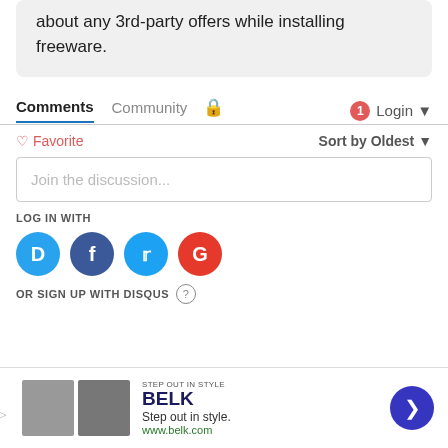about any 3rd-party offers while installing freeware.
Comments  Community  Login
Favorite  Sort by Oldest
Join the discussion...
LOG IN WITH
[Figure (infographic): Social login icons: Disqus (blue), Facebook (dark blue), Twitter (light blue), Google (red)]
OR SIGN UP WITH DISQUS ?
[Figure (infographic): Advertisement banner for Belk: Step out in style. www.belk.com with two product photos and a blue arrow button]